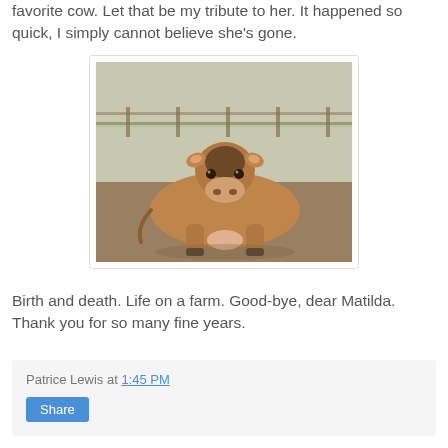favorite cow. Let that be my tribute to her. It happened so quick, I simply cannot believe she's gone.
[Figure (photo): A brown Jersey cow lying on the ground outdoors, looking at the camera. The background shows a fenced farm area with dry grass.]
Birth and death. Life on a farm. Good-bye, dear Matilda. Thank you for so many fine years.
Patrice Lewis at 1:45 PM
Share